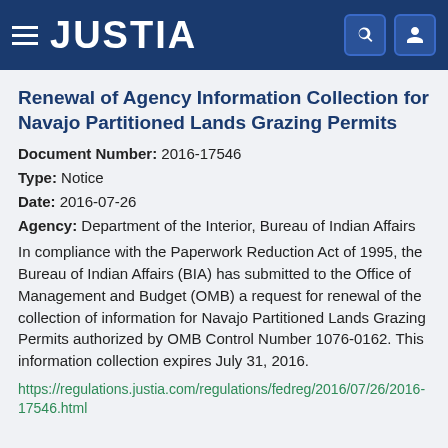JUSTIA
Renewal of Agency Information Collection for Navajo Partitioned Lands Grazing Permits
Document Number: 2016-17546
Type: Notice
Date: 2016-07-26
Agency: Department of the Interior, Bureau of Indian Affairs
In compliance with the Paperwork Reduction Act of 1995, the Bureau of Indian Affairs (BIA) has submitted to the Office of Management and Budget (OMB) a request for renewal of the collection of information for Navajo Partitioned Lands Grazing Permits authorized by OMB Control Number 1076-0162. This information collection expires July 31, 2016.
https://regulations.justia.com/regulations/fedreg/2016/07/26/2016-17546.html